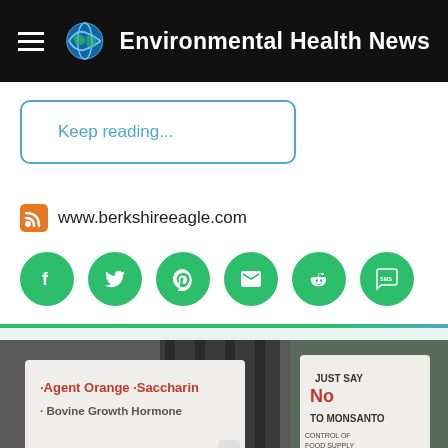Environmental Health News
Keep reading...
www.berkshireeagle.com
[Figure (screenshot): Row of six green circular social media share buttons: Facebook, Twitter, Pinterest, Email, Reddit, SMS]
[Figure (photo): Protest photo showing people holding signs: 'Agent Orange · Saccharin · Bovine Growth Hormone' and 'JUST SAY No TO MONSANTO CONTROL OF FOOD SUPPLY']